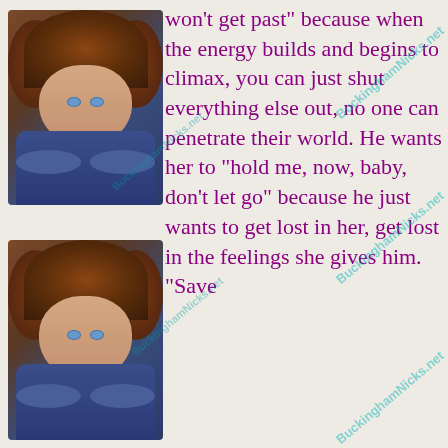[Figure (illustration): Colorized illustration of a young man with large curly brown hair and bright blue eyes wearing a blue jacket, appearing twice on the page (top and bottom left)]
won't get past" because when the energy builds and begins to climax, you can just shut everything else out, no one can penetrate their world. He wants her to "hold me, now, baby, don't let go" because he just wants to get lost in her, get lost in the feelings she gives him. "Save